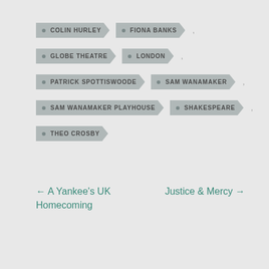COLIN HURLEY
FIONA BANKS
GLOBE THEATRE
LONDON
PATRICK SPOTTISWOODE
SAM WANAMAKER
SAM WANAMAKER PLAYHOUSE
SHAKESPEARE
THEO CROSBY
← A Yankee's UK Homecoming
Justice & Mercy →